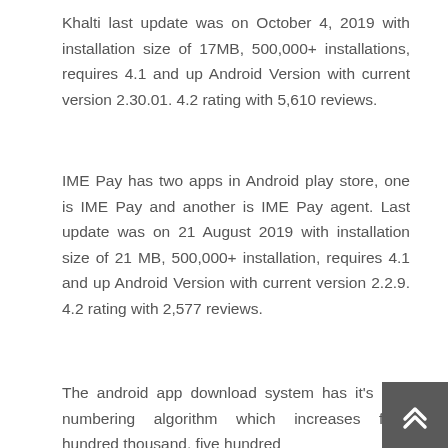Khalti last update was on October 4, 2019 with installation size of 17MB, 500,000+ installations, requires 4.1 and up Android Version with current version 2.30.01. 4.2 rating with 5,610 reviews.
IME Pay has two apps in Android play store, one is IME Pay and another is IME Pay agent. Last update was on 21 August 2019 with installation size of 21 MB, 500,000+ installation, requires 4.1 and up Android Version with current version 2.2.9. 4.2 rating with 2,577 reviews.
The android app download system has it's own numbering algorithm which increases from hundred thousand, five hundred